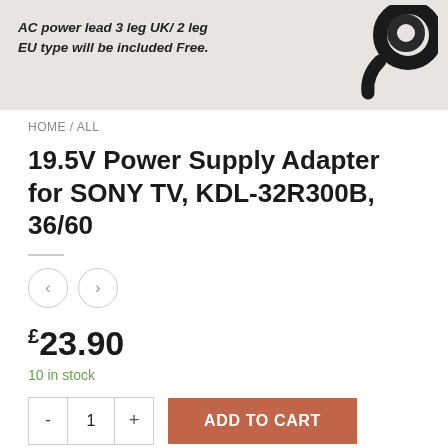[Figure (photo): Product image showing a power adapter cable coiled, with text overlay: AC power lead 3 leg UK/ 2 leg EU type will be included Free.]
HOME / ALL
19.5V Power Supply Adapter for SONY TV, KDL-32R300B, 36/60
£23.90
10 in stock
ADD TO CART
Category: All
Tag: Condition: Like New